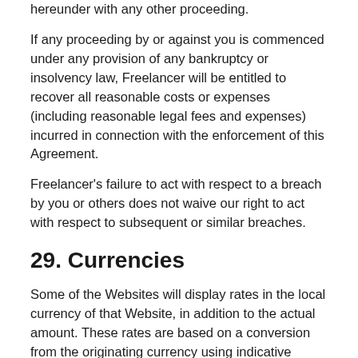hereunder with any other proceeding.
If any proceeding by or against you is commenced under any provision of any bankruptcy or insolvency law, Freelancer will be entitled to recover all reasonable costs or expenses (including reasonable legal fees and expenses) incurred in connection with the enforcement of this Agreement.
Freelancer's failure to act with respect to a breach by you or others does not waive our right to act with respect to subsequent or similar breaches.
29. Currencies
Some of the Websites will display rates in the local currency of that Website, in addition to the actual amount. These rates are based on a conversion from the originating currency using indicative market exchange rates. You understand and agree that these rates are only indicative and the amount specified in the origin currency is the actual amount.
As a convenience service, you may withdraw funds from the Website in another currency. If you wish to do so, you will be quoted an exchange rate which will be available for the time specified, which you may choose to accept. We may charge a fee for effecting the currency conversion transactions. This fee will be